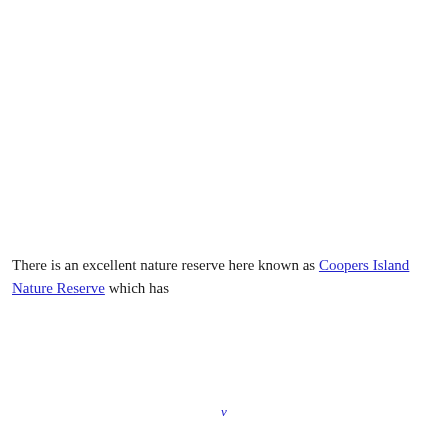There is an excellent nature reserve here known as Coopers Island Nature Reserve, which has...
v